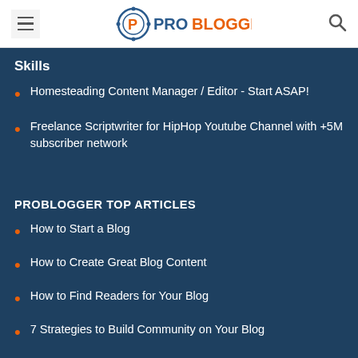PROBLOGGER
Skills
Homesteading Content Manager / Editor - Start ASAP!
Freelance Scriptwriter for HipHop Youtube Channel with +5M subscriber network
PROBLOGGER TOP ARTICLES
How to Start a Blog
How to Create Great Blog Content
How to Find Readers for Your Blog
7 Strategies to Build Community on Your Blog